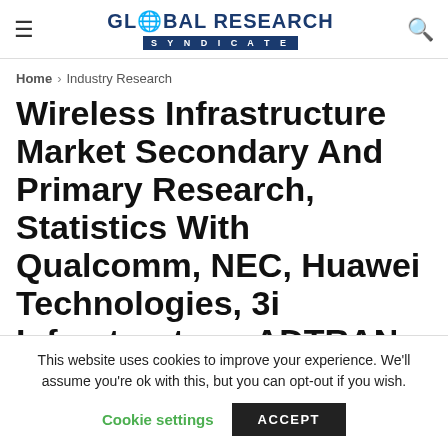GLOBAL RESEARCH SYNDICATE
Home > Industry Research
Wireless Infrastructure Market Secondary And Primary Research, Statistics With Qualcomm, NEC, Huawei Technologies, 3i Infrastructure, ADTRAN, Motorola Solutions
This website uses cookies to improve your experience. We'll assume you're ok with this, but you can opt-out if you wish. Cookie settings  ACCEPT